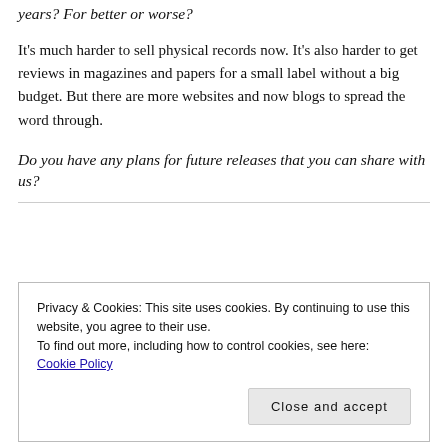years?  For better or worse?
It's much harder to sell physical records now. It's also harder to get reviews in magazines and papers for a small label without a big budget. But there are more websites and now blogs to spread the word through.
Do you have any plans for future releases that you can share with us?
Privacy & Cookies: This site uses cookies. By continuing to use this website, you agree to their use.
To find out more, including how to control cookies, see here:
Cookie Policy
Close and accept